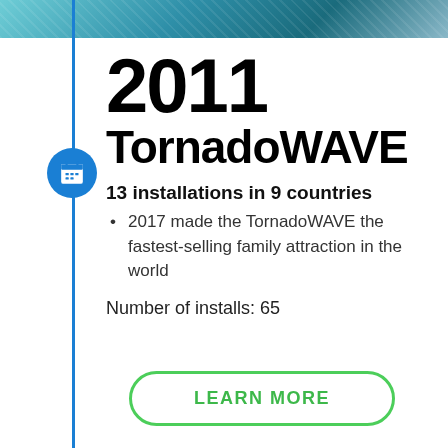[Figure (photo): Top image strip showing a water ride or wave attraction with blue/teal tones]
2011 TornadoWAVE
13 installations in 9 countries
2017 made the TornadoWAVE the fastest-selling family attraction in the world
Number of installs: 65
LEARN MORE